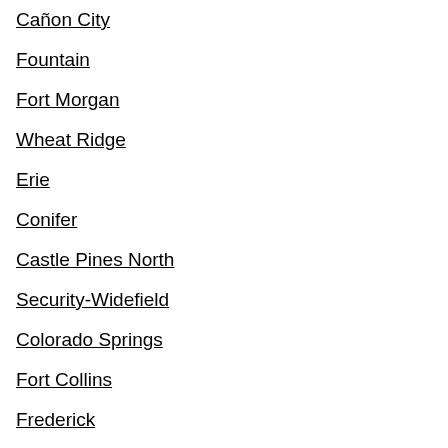Cañon City
Fountain
Fort Morgan
Wheat Ridge
Erie
Conifer
Castle Pines North
Security-Widefield
Colorado Springs
Fort Collins
Frederick